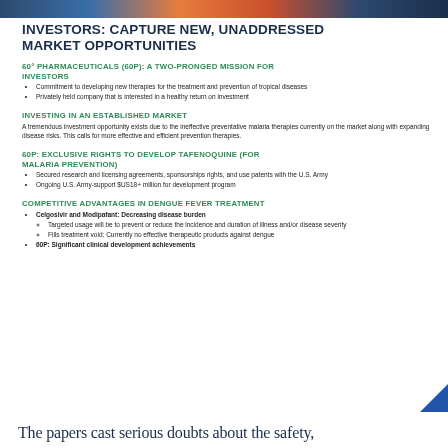[Figure (photo): Colorful header banner image with blue, orange and dark tones]
INVESTORS: CAPTURE NEW, UNADDRESSED MARKET OPPORTUNITIES
60° PHARMACEUTICALS (60P): A TWO-PRONGED MISSION FOR INVESTORS
Commitment to developing new therapies for the treatment and prevention of tropical diseases
Privately held company that is interested in a healthy return on investment
INVESTING IN AN ESTABLISHED MARKET
A tremendous investment opportunity exists due to the ineffective preventative malaria therapies currently on the market along with expanding disease risks. This calls for more effective and efficient prevention therapies.
60P: EXCLUSIVE RIGHTS TO DEVELOP TAFENOQUINE (FOR MALARIA PREVENTION)
Secured research and licensing agreements, sponsorships rights, and use patents with the U.S. Army
Ongoing U.S. Army-support $US18+ million for development program
COMPETITIVE ADVANTAGES IN DENGUE FEVER TREATMENT
Celgosivir and Modipafant: Decreasing disease burden
Targeted usage will be to prevent or reduce the incidence and duration of illness and/or disease severity
Fills treatment void: Currently no effective therapeutic products against dengue
60P: Significant clinical development achievements
The papers cast serious doubts about the safety,